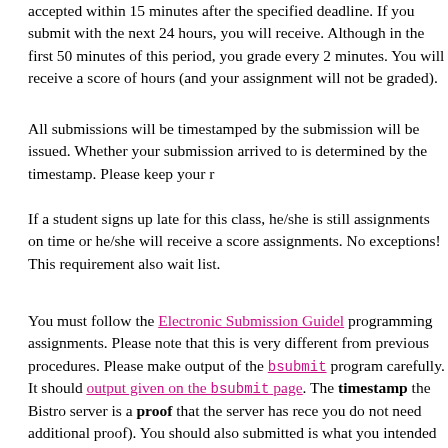accepted within 15 minutes after the specified deadline. If you submit with the next 24 hours, you will receive. Although in the first 50 minutes of this period, you grade every 2 minutes. You will receive a score of hours (and your assignment will not be graded).
All submissions will be timestamped by the submission system will be issued. Whether your submission arrived to is determined by the timestamp. Please keep your r
If a student signs up late for this class, he/she is still required assignments on time or he/she will receive a score assignments. No exceptions! This requirement also wait list.
You must follow the Electronic Submission Guidelines for programming assignments. Please note that this is very different from previous procedures. Please make sure the output of the bsubmit program carefully. It should match the output given on the bsubmit page. The timestamp from the Bistro server is a proof that the server has received (so you do not need additional proof). You should also make sure submitted is what you intended to submit by following the Submission procedure. Please note that it is your responsibility that you have submitted valid submissions and that you have timestamped upload tickets for them.